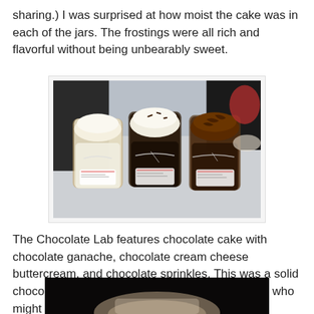sharing.) I was surprised at how moist the cake was in each of the jars. The frostings were all rich and flavorful without being unbearably sweet.
[Figure (photo): Three glass mason jars containing cake in jars with frosting on top — one with white/cream frosting, one with white frosting and dark cake, one with dark chocolate frosting — sitting on a table, each with a small label tied around them.]
The Chocolate Lab features chocolate cake with chocolate ganache, chocolate cream cheese buttercream, and chocolate sprinkles. This was a solid chocolate cupcake, and we all liked it. Jeff's dad, who might even love chocolate more than I do, was enamored with it.
[Figure (photo): Partial image of a plate or dish with food, cropped at bottom of page.]